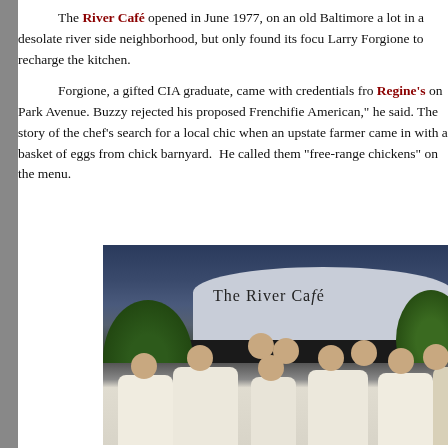The River Café opened in June 1977, on an old Baltimore a lot in a desolate river side neighborhood, but only found its focus Larry Forgione to recharge the kitchen.
Forgione, a gifted CIA graduate, came with credentials from Regine's on Park Avenue. Buzzy rejected his proposed Frenchified American," he said. The story of the chef's search for a local chic when an upstate farmer came in with a basket of eggs from chick barnyard. He called them "free-range chickens" on the menu.
[Figure (photo): Group photo of people in white chef coats standing in front of The River Café restaurant building at night, with green foliage visible and the cursive 'The River Café' sign on the building behind them.]